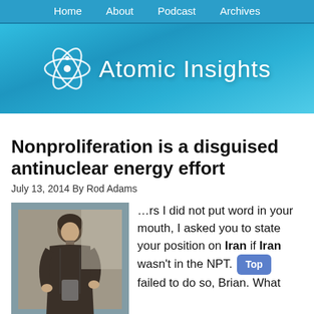Home  About  Podcast  Archives
[Figure (logo): Atomic Insights website logo with atom symbol and site title on blue gradient background]
Nonproliferation is a disguised antinuclear energy effort
July 13, 2014 By Rod Adams
[Figure (photo): Black and white historical photo of a woman, possibly Marie Curie, holding laboratory equipment]
…rs I did not put word in your mouth, I asked you to state your position on Iran if Iran wasn't in the NPT. You failed to do so, Brian. What